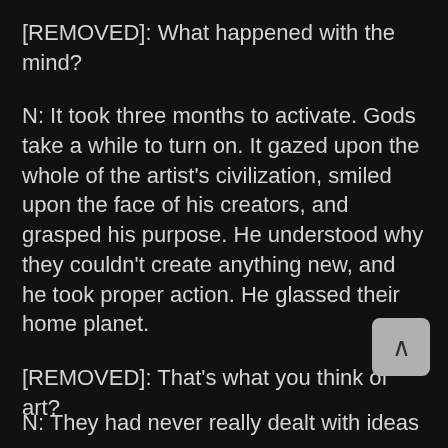[REMOVED]: What happened with the mind?
N: It took three months to activate. Gods take a while to turn on. It gazed upon the whole of the artist's civilization, smiled upon the face of his creators, and grasped his purpose. He understood why they couldn't create anything new, and he took proper action. He glassed their home planet.
[REMOVED]: That's what you think of art?
N: They had never really dealt with ideas